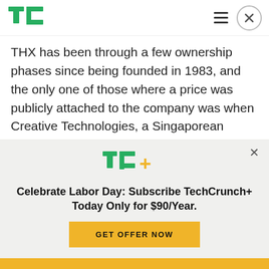TechCrunch
THX has been through a few ownership phases since being founded in 1983, and the only one of those where a price was publicly attached to the company was when Creative Technologies, a Singaporean company, acquired a 60 percent stake from Lucasfilm reportedly for $8 million in 2002, implying a valuation of a mere $13 million.
[Figure (logo): TechCrunch+ logo (TC+)]
Celebrate Labor Day: Subscribe TechCrunch+ Today Only for $90/Year.
GET OFFER NOW